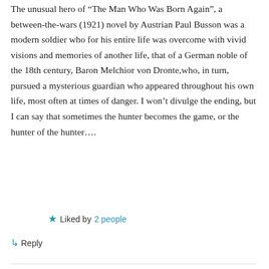The unusual hero of “The Man Who Was Born Again”, a between-the-wars (1921) novel by Austrian Paul Busson was a modern soldier who for his entire life was overcome with vivid visions and memories of another life, that of a German noble of the 18th century, Baron Melchior von Dronte,who, in turn, pursued a mysterious guardian who appeared throughout his own life, most often at times of danger. I won’t divulge the ending, but I can say that sometimes the hunter becomes the game, or the hunter of the hunter….
Liked by 2 people
Reply